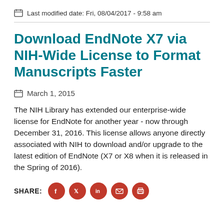Last modified date: Fri, 08/04/2017 - 9:58 am
Download EndNote X7 via NIH-Wide License to Format Manuscripts Faster
March 1, 2015
The NIH Library has extended our enterprise-wide license for EndNote for another year - now through December 31, 2016. This license allows anyone directly associated with NIH to download and/or upgrade to the latest edition of EndNote (X7 or X8 when it is released in the Spring of 2016).
SHARE: